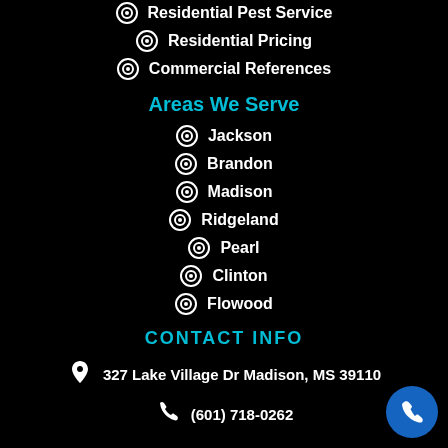Residential Pest Service
Residential Pricing
Commercial References
Areas We Serve
Jackson
Brandon
Madison
Ridgeland
Pearl
Clinton
Flowood
CONTACT INFO
327 Lake Village Dr Madison, MS 39110
(601) 718-0262